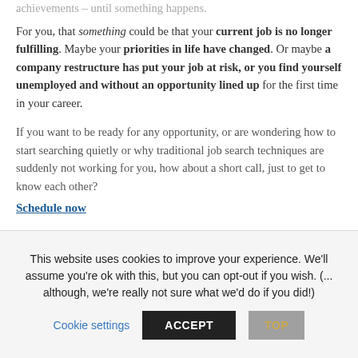achievements – until something happens.
For you, that something could be that your current job is no longer fulfilling. Maybe your priorities in life have changed. Or maybe a company restructure has put your job at risk, or you find yourself unemployed and without an opportunity lined up for the first time in your career.
If you want to be ready for any opportunity, or are wondering how to start searching quietly or why traditional job search techniques are suddenly not working for you, how about a short call, just to get to know each other?
Schedule now
This website uses cookies to improve your experience. We'll assume you're ok with this, but you can opt-out if you wish. (... although, we're really not sure what we'd do if you did!)
Cookie settings
ACCEPT
TOP